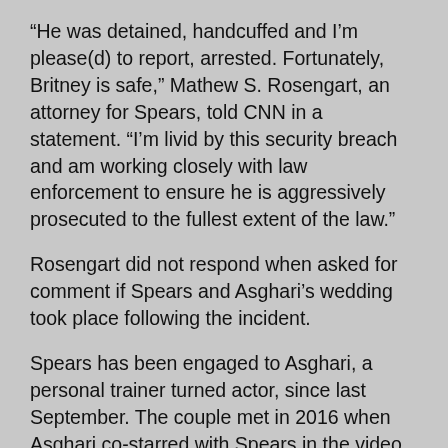“He was detained, handcuffed and I’m please(d) to report, arrested. Fortunately, Britney is safe,” Mathew S. Rosengart, an attorney for Spears, told CNN in a statement. “I’m livid by this security breach and am working closely with law enforcement to ensure he is aggressively prosecuted to the fullest extent of the law.”
Rosengart did not respond when asked for comment if Spears and Asghari’s wedding took place following the incident.
Spears has been engaged to Asghari, a personal trainer turned actor, since last September. The couple met in 2016 when Asghari co-starred with Spears in the video to her single, “Slumber Party.”
The pop star icon has been previously married to Alexander and dancer Kevin Federline, with whom she had two sons.